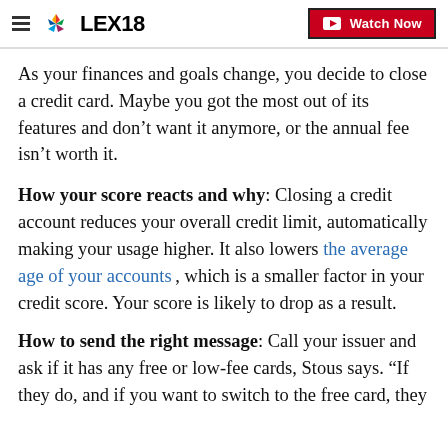LEX18 | Watch Now
As your finances and goals change, you decide to close a credit card. Maybe you got the most out of its features and don't want it anymore, or the annual fee isn't worth it.
How your score reacts and why: Closing a credit account reduces your overall credit limit, automatically making your usage higher. It also lowers the average age of your accounts , which is a smaller factor in your credit score. Your score is likely to drop as a result.
How to send the right message: Call your issuer and ask if it has any free or low-fee cards, Stous says. “If they do, and if you want to switch to the free card, they